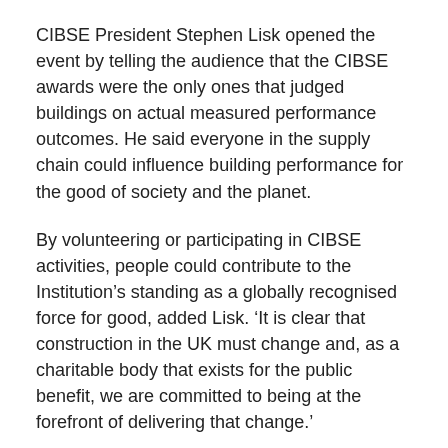CIBSE President Stephen Lisk opened the event by telling the audience that the CIBSE awards were the only ones that judged buildings on actual measured performance outcomes. He said everyone in the supply chain could influence building performance for the good of society and the planet.
By volunteering or participating in CIBSE activities, people could contribute to the Institution's standing as a globally recognised force for good, added Lisk. ‘It is clear that construction in the UK must change and, as a charitable body that exists for the public benefit, we are committed to being at the forefront of delivering that change.’
BuroHappold Engineering’s Dr Sarah Prichard also gave a presentation at the ceremony.
Building Performance Champion
Winner: EY Centre, Sydney, Australia – Mirvac